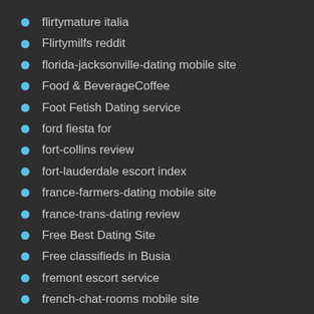flirtymature italia
Flirtymilfs reddit
florida-jacksonville-dating mobile site
Food & BeverageCoffee
Foot Fetish Dating service
ford fiesta for
fort-collins review
fort-lauderdale escort index
france-farmers-dating mobile site
france-trans-dating review
Free Best Dating Site
Free classifieds in Busia
fremont escort service
french-chat-rooms mobile site